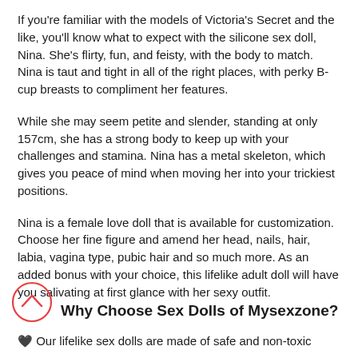If you're familiar with the models of Victoria's Secret and the like, you'll know what to expect with the silicone sex doll, Nina. She's flirty, fun, and feisty, with the body to match. Nina is taut and tight in all of the right places, with perky B-cup breasts to compliment her features.
While she may seem petite and slender, standing at only 157cm, she has a strong body to keep up with your challenges and stamina. Nina has a metal skeleton, which gives you peace of mind when moving her into your trickiest positions.
Nina is a female love doll that is available for customization. Choose her fine figure and amend her head, nails, hair, labia, vagina type, pubic hair and so much more. As an added bonus with your choice, this lifelike adult doll will have you salivating at first glance with her sexy outfit.
Why Choose Sex Dolls of Mysexzone?
🖤 Our lifelike sex dolls are made of safe and non-toxic